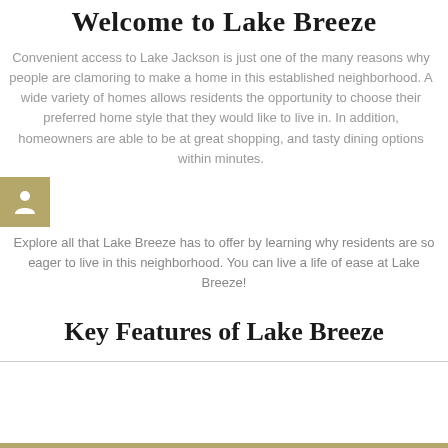Welcome to Lake Breeze
Convenient access to Lake Jackson is just one of the many reasons why people are clamoring to make a home in this established neighborhood. A wide variety of homes allows residents the opportunity to choose their preferred home style that they would like to live in. In addition, homeowners are able to be at great shopping, and tasty dining options within minutes.
[Figure (illustration): Person/resident icon in gold/tan square background]
Explore all that Lake Breeze has to offer by learning why residents are so eager to live in this neighborhood. You can live a life of ease at Lake Breeze!
Key Features of Lake Breeze